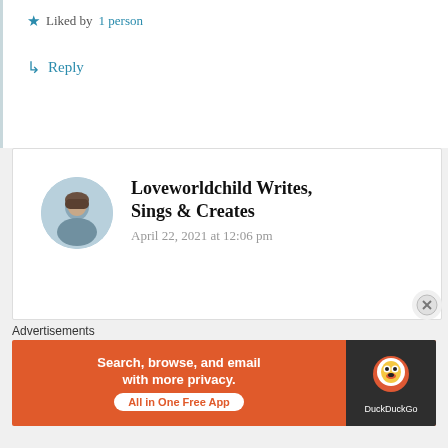★ Liked by 1 person
↳ Reply
Loveworldchild Writes, Sings & Creates
April 22, 2021 at 12:06 pm
Remarkable commenting…you deserve it mate
★ Liked by 1 person
Advertisements
[Figure (screenshot): DuckDuckGo advertisement banner: orange background with text 'Search, browse, and email with more privacy. All in One Free App' and DuckDuckGo logo on dark right panel.]